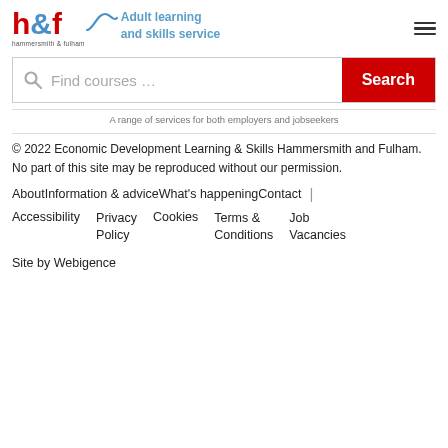[Figure (logo): Hammersmith & Fulham h&f logo with Adult learning and skills service text]
Find courses …
Search
A range of services for both employers and jobseekers
© 2022 Economic Development Learning & Skills Hammersmith and Fulham. No part of this site may be reproduced without our permission.
About Information & advice What's happening Contact |
Accessibility Privacy Policy Cookies Terms & Conditions Job Vacancies
Site by Webigence